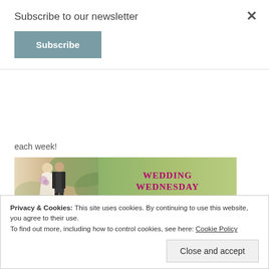Subscribe to our newsletter
Subscribe
each week!
[Figure (illustration): Wedding Wednesday banner with couple silhouette on left and 'WEDDING WEDNESDAY' text in magenta on green background]
I don't think it's going to be any secret that I. love. weddings. For the longest time, I wanted to be a wedding planner. Only I don't think I could politely
Privacy & Cookies: This site uses cookies. By continuing to use this website, you agree to their use.
To find out more, including how to control cookies, see here: Cookie Policy
Close and accept